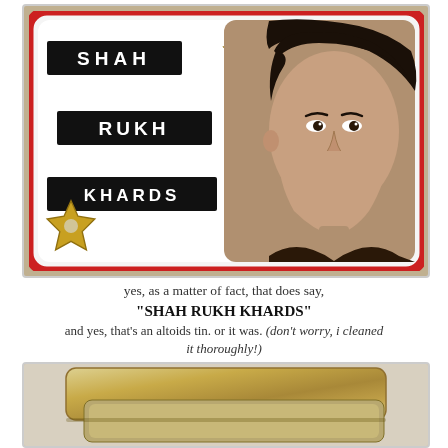[Figure (photo): A decorative tin (Altoids tin) with a red border and rounded corners. On the left side of the tin are three black rectangular labels reading 'SHAH', 'RUKH', and 'KHARDS' in white letters. Gold star-shaped decorative studs appear at top-center, bottom-left, and bottom-right. On the right half of the tin is a photo of Shah Rukh Khan, a young man with dark hair.]
yes, as a matter of fact, that does say,
"SHAH RUKH KHARDS"
and yes, that's an altoids tin. or it was. (don't worry, i cleaned it thoroughly!)
want to see inside?
[Figure (photo): The bottom portion of an opened Altoids tin viewed from above, showing the inside of the gold/brass-colored metal lid and the tin body.]